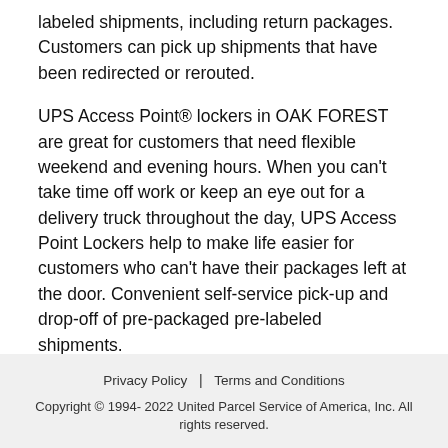labeled shipments, including return packages. Customers can pick up shipments that have been redirected or rerouted.
UPS Access Point® lockers in OAK FOREST are great for customers that need flexible weekend and evening hours. When you can't take time off work or keep an eye out for a delivery truck throughout the day, UPS Access Point Lockers help to make life easier for customers who can't have their packages left at the door. Convenient self-service pick-up and drop-off of pre-packaged pre-labeled shipments.
Privacy Policy | Terms and Conditions
Copyright © 1994- 2022 United Parcel Service of America, Inc. All rights reserved.